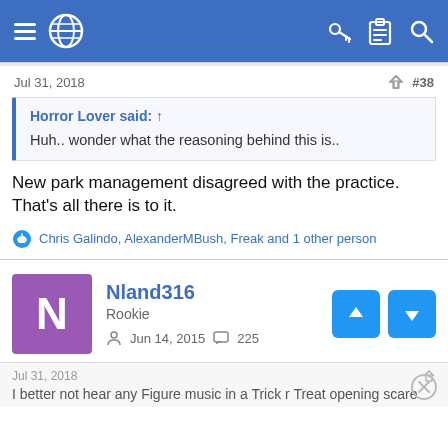Navigation bar with menu, globe icon, key, clipboard, and search icons
Jul 31, 2018  #38
Horror Lover said: ↑
Huh.. wonder what the reasoning behind this is..
New park management disagreed with the practice. That's all there is to it.
Chris Galindo, AlexanderMBush, Freak and 1 other person
Nland316
Rookie
Jun 14, 2015  225
Jul 31, 2018
I better not hear any Figure music in a Trick r Treat opening scare